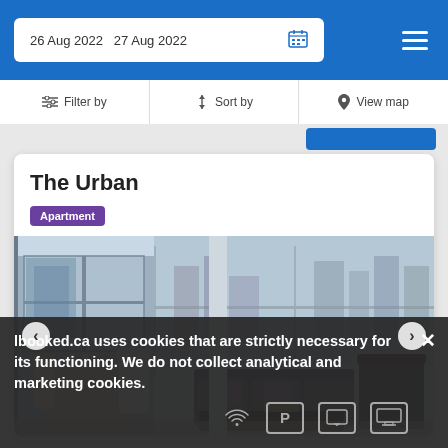26 Aug 2022  27 Aug 2022
Filter by   Sort by   View map
The Urban
Apartment
[Figure (photo): Interior photo of a high-rise apartment living/dining area with floor-to-ceiling windows and city skyline view]
lbooked.ca uses cookies that are strictly necessary for its functioning. We do not collect analytical and marketing cookies.